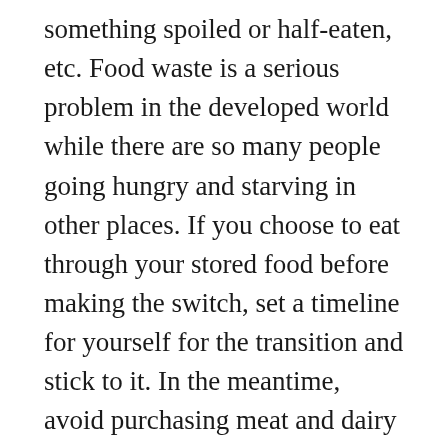something spoiled or half-eaten, etc. Food waste is a serious problem in the developed world while there are so many people going hungry and starving in other places. If you choose to eat through your stored food before making the switch, set a timeline for yourself for the transition and stick to it. In the meantime, avoid purchasing meat and dairy products for your home. You should also extend your purge to your beauty and cleaning products. Use up any cosmetics and toiletries that were tested on animals. When making new purchases, look for things which have not been rubbed or dripped into a